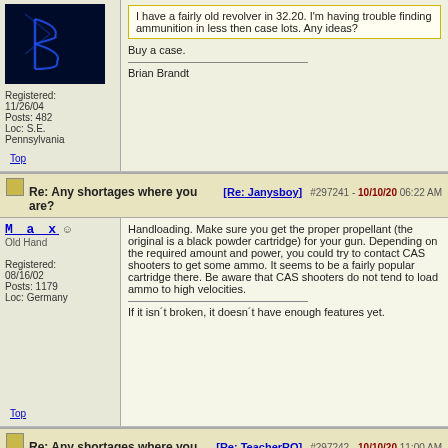I have a fairly old revolver in 32.20. I'm having trouble finding ammunition in less then case lots. Any ideas?
Buy a case.
Brian Brandt
Top
Re: Any shortages where you are? [Re: Janysboy] #297241 - 10/10/20 06:22 AM
M_a_x
Old Hand
Registered: 08/16/02
Posts: 1179
Loc: Germany
Handloading. Make sure you get the proper propellant (the original is a black powder cartridge) for your gun. Depending on the required amount and power, you could try to contact CAS shooters to get some ammo. It seems to be a fairly popular cartridge there. Be aware that CAS shooters do not tend to load ammo to high velocities.
If it isn´t broken, it doesn´t have enough features yet.
Top
Re: Any shortages where you are? [Re: TeacherRO] #297242 - 10/10/20 11:00 AM
quick_joey_small: Why are there shortages? Are you expecting factori...